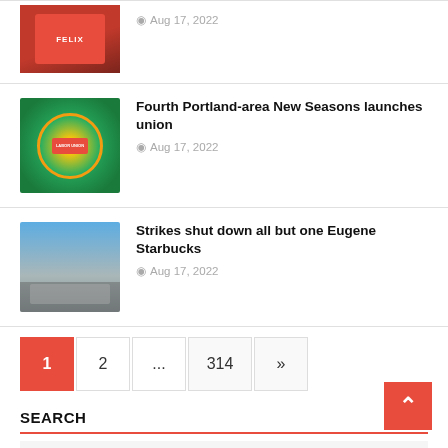[Figure (photo): Red cup/drink photo thumbnail]
Aug 17, 2022
[Figure (logo): New Seasons Labor Union logo — circular badge with figure and red ribbon]
Fourth Portland-area New Seasons launches union
Aug 17, 2022
[Figure (photo): Outdoor photo showing Starbucks strike scene with people and umbrellas]
Strikes shut down all but one Eugene Starbucks
Aug 17, 2022
1  2  ...  314  »
SEARCH